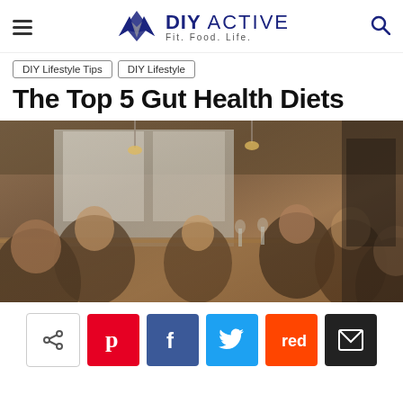DIY ACTIVE — Fit. Food. Life.
DIY Lifestyle Tips | DIY Lifestyle
The Top 5 Gut Health Diets
[Figure (photo): People dining together at a restaurant, seated at a long table in a warm, busy dining room with large windows and overhead lights.]
Social sharing buttons: Share, Pinterest, Facebook, Twitter, Reddit, Email